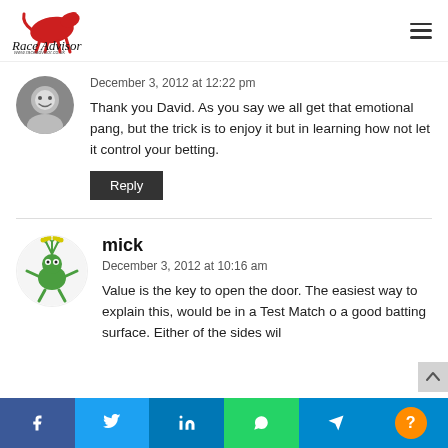Race Advisor — www.raceadvisor.co.uk
December 3, 2012 at 12:22 pm
Thank you David. As you say we all get that emotional pang, but the trick is to enjoy it but in learning how not let it control your betting.
Reply
mick
December 3, 2012 at 10:16 am
Value is the key to open the door. The easiest way to explain this, would be in a Test Match o a good batting surface. Either of the sides wil
Facebook Twitter LinkedIn WhatsApp Telegram